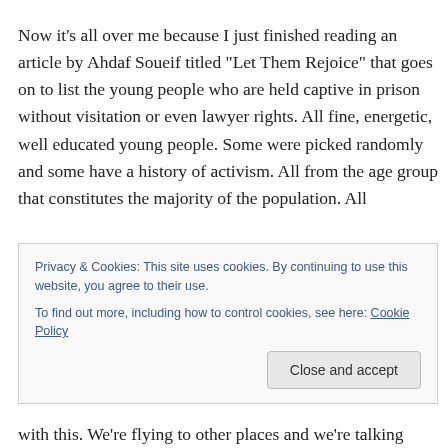Now it's all over me because I just finished reading an article by Ahdaf Soueif titled “Let Them Rejoice” that goes on to list the young people who are held captive in prison without visitation or even lawyer rights. All fine, energetic, well educated young people. Some were picked randomly and some have a history of activism. All from the age group that constitutes the majority of the population. All
Privacy & Cookies: This site uses cookies. By continuing to use this website, you agree to their use.
To find out more, including how to control cookies, see here: Cookie Policy
with this. We’re flying to other places and we’re talking